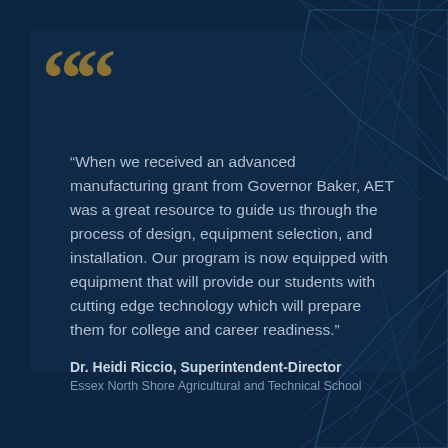[Figure (illustration): Dark navy background with geometric network/polygon line art decorations in the top-right and bottom-right corners, and a semi-transparent inner card panel.]
“When we received an advanced manufacturing grant from Governor Baker, AET was a great resource to guide us through the process of design, equipment selection, and installation. Our program is now equipped with equipment that will provide our students with cutting edge technology which will prepare them for college and career readiness.”
Dr. Heidi Riccio, Superintendent-Director
Essex North Shore Agricultural and Technical School